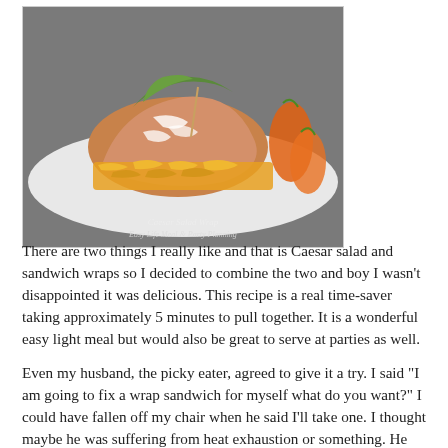[Figure (photo): A Caesar Salad Wrap on a white plate with shredded cheese and carrots visible. Caption reads 'Caesar Salad Wrap / Easy Life Meal & Party Planning']
There are two things I really like and that is Caesar salad and sandwich wraps so I decided to combine the two and boy I wasn't disappointed it was delicious. This recipe is a real time-saver taking approximately 5 minutes to pull together. It is a wonderful easy light meal but would also be great to serve at parties as well.
Even my husband, the picky eater, agreed to give it a try. I said "I am going to fix a wrap sandwich for myself what do you want?" I could have fallen off my chair when he said I'll take one. I thought maybe he was suffering from heat exhaustion or something. He almost never just agrees to something different. Then, I said "Well, I'm making mine with a dried tomato wrap but I will make yours with a plain wrap"